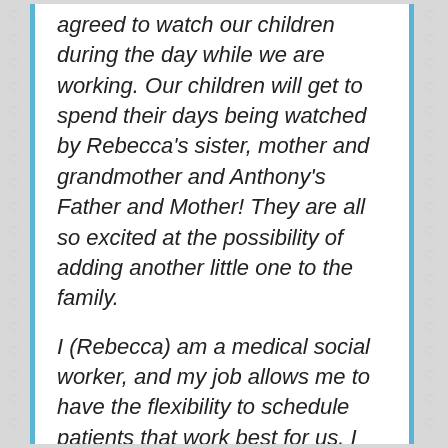agreed to watch our children during the day while we are working. Our children will get to spend their days being watched by Rebecca's sister, mother and grandmother and Anthony's Father and Mother! They are all so excited at the possibility of adding another little one to the family.
I (Rebecca) am a medical social worker, and my job allows me to have the flexibility to schedule patients that work best for us. I would be able to take this child to any doctors appointments, I (Anthony) am an accountant for our local university, and work from home a